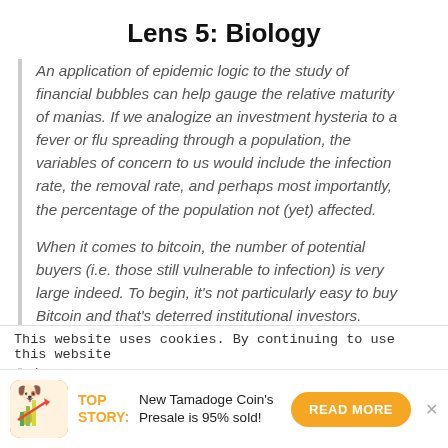Lens 5: Biology
An application of epidemic logic to the study of financial bubbles can help gauge the relative maturity of manias. If we analogize an investment hysteria to a fever or flu spreading through a population, the variables of concern to us would include the infection rate, the removal rate, and perhaps most importantly, the percentage of the population not (yet) affected.
When it comes to bitcoin, the number of potential buyers (i.e. those still vulnerable to infection) is very large indeed. To begin, it's not particularly easy to buy Bitcoin and that's deterred institutional investors. Specialized exchanges, online wallets, and the need to protect
This website uses cookies. By continuing to use this website
TOP STORY: New Tamadoge Coin's Presale is 95% sold!